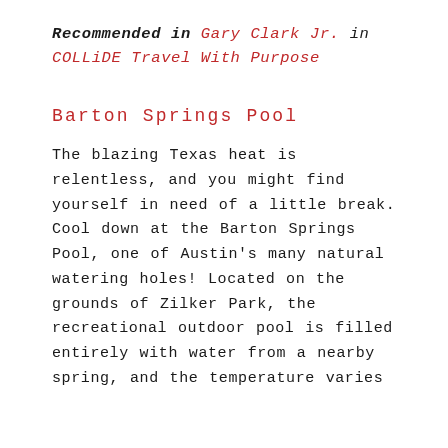Recommended in Gary Clark Jr. in COLLiDE Travel With Purpose
Barton Springs Pool
The blazing Texas heat is relentless, and you might find yourself in need of a little break. Cool down at the Barton Springs Pool, one of Austin's many natural watering holes! Located on the grounds of Zilker Park, the recreational outdoor pool is filled entirely with water from a nearby spring, and the temperature varies